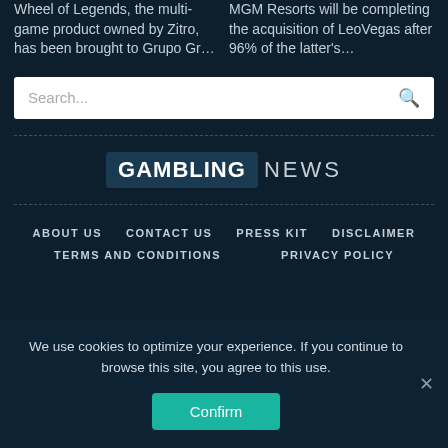Wheel of Legends, the multi-game product owned by Zitro, has been brought to Grupo Gr…
MGM Resorts will be completing the acquisition of LeoVegas after 96% of the latter's…
[Figure (screenshot): Search bar with placeholder text 'Search...' and a magnifying glass icon on the right]
[Figure (logo): Gambling News logo: 'GAMBLING' in bold white on dark blue background, 'NEWS' in plain grey text]
ABOUT US
CONTACT US
PRESS KIT
DISCLAIMER
TERMS AND CONDITIONS
PRIVACY POLICY
We use cookies to optimize your experience. If you continue to browse this site, you agree to this use.
Confirm